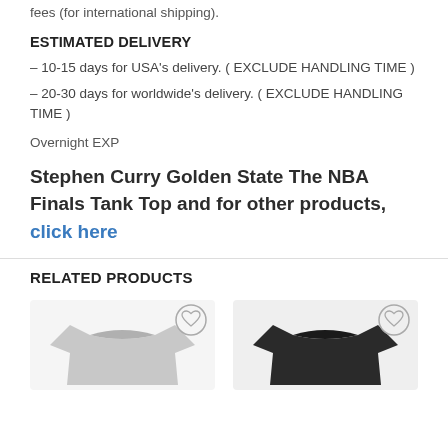fees (for international shipping).
ESTIMATED DELIVERY
– 10-15 days for USA's delivery. ( EXCLUDE HANDLING TIME )
– 20-30 days for worldwide's delivery. ( EXCLUDE HANDLING TIME )
Overnight EXP
Stephen Curry Golden State The NBA Finals Tank Top and for other products, click here
RELATED PRODUCTS
[Figure (photo): Two product images (t-shirts) shown at bottom of page as related products, each with a heart/wishlist icon overlay.]